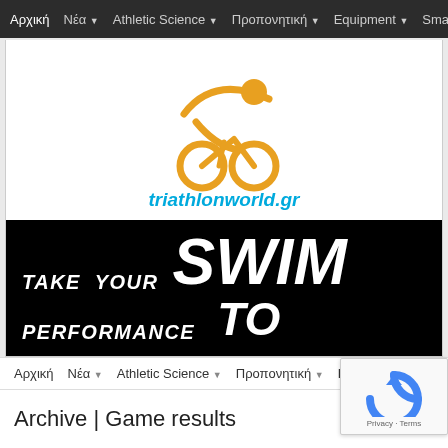Αρχική  Νέα  Athletic Science  Προπονητική  Equipment  Smar
[Figure (logo): Triathlon world logo: orange stylized cyclist figure with circular wheels, with text 'triathlonworld.gr' in cyan/blue italic bold below]
[Figure (infographic): Black banner with white bold italic text: 'TAKE YOUR SWIM PERFORMANCE TO' - large SWIM text on right, smaller text on left]
Αρχική  Νέα  Athletic Science  Προπονητική  Equipment
Archive | Game results